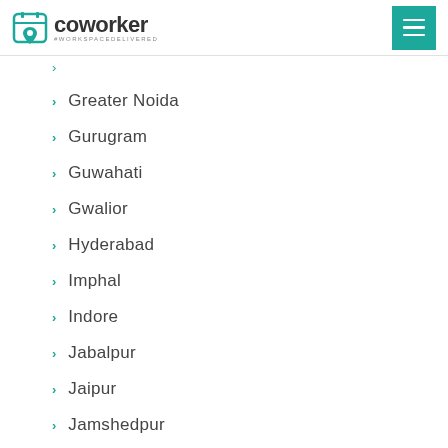coworker #workspacedelivered
Greater Noida
Gurugram
Guwahati
Gwalior
Hyderabad
Imphal
Indore
Jabalpur
Jaipur
Jamshedpur
Jatni
Jodhpur
Kalyan
Kanpur